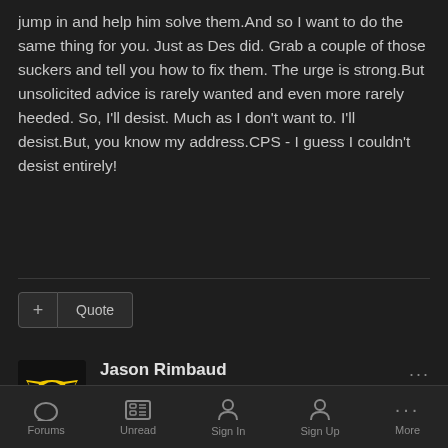jump in and help him solve them.And so I want to do the same thing for you. Just as Des did. Grab a couple of those suckers and tell you how to fix them. The urge is strong.But unsolicited advice is rarely wanted and even more rarely heeded. So, I'll desist. Much as I don't want to. I'll desist.But, you know my address.CPS - I guess I couldn't desist entirely!
+ Quote
Jason Rimbaud
Posted July 31, 2008
Cole- I've never heard someone say so much while claiming not to say anything. 😯 And wow, if only I had the time to fill you crazy people on the events of yesterday, Cole's and Des's advice would be pointless. But much like the way Cole accuses me of only telling snipit's of events
Forums  Unread  Sign In  Sign Up  More